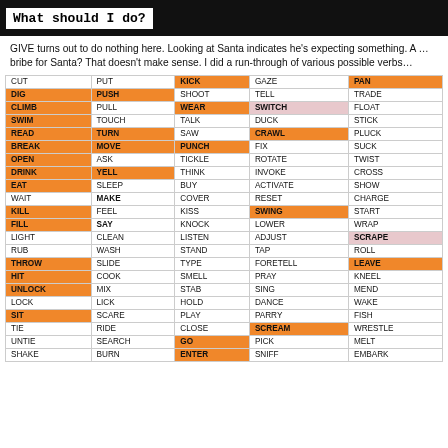What should I do?
GIVE turns out to do nothing here. Looking at Santa indicates he's expecting something. A … bribe for Santa? That doesn't make sense. I did a run-through of various possible verbs…
| CUT | PUT | KICK | GAZE | PAN |
| DIG | PUSH | SHOOT | TELL | TRADE |
| CLIMB | PULL | WEAR | SWITCH | FLOAT |
| SWIM | TOUCH | TALK | DUCK | STICK |
| READ | TURN | SAW | CRAWL | PLUCK |
| BREAK | MOVE | PUNCH | FIX | SUCK |
| OPEN | ASK | TICKLE | ROTATE | TWIST |
| DRINK | YELL | THINK | INVOKE | CROSS |
| EAT | SLEEP | BUY | ACTIVATE | SHOW |
| WAIT | MAKE | COVER | RESET | CHARGE |
| KILL | FEEL | KISS | SWING | START |
| FILL | SAY | KNOCK | LOWER | WRAP |
| LIGHT | CLEAN | LISTEN | ADJUST | SCRAPE |
| RUB | WASH | STAND | TAP | ROLL |
| THROW | SLIDE | TYPE | FORETELL | LEAVE |
| HIT | COOK | SMELL | PRAY | KNEEL |
| UNLOCK | MIX | STAB | SING | MEND |
| LOCK | LICK | HOLD | DANCE | WAKE |
| SIT | SCARE | PLAY | PARRY | FISH |
| TIE | RIDE | CLOSE | SCREAM | WRESTLE |
| UNTIE | SEARCH | GO | PICK | MELT |
| SHAKE | BURN | ENTER | SNIFF | EMBARK |